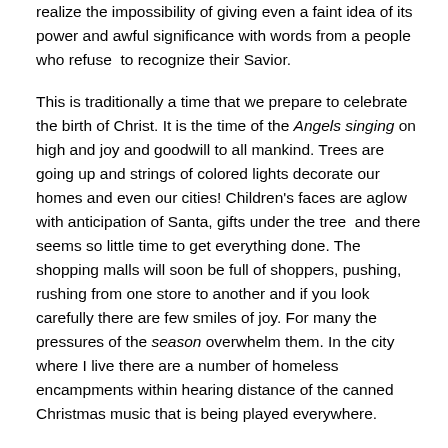realize the impossibility of giving even a faint idea of its power and awful significance with words from a people who refuse to recognize their Savior.

This is traditionally a time that we prepare to celebrate the birth of Christ. It is the time of the Angels singing on high and joy and goodwill to all mankind. Trees are going up and strings of colored lights decorate our homes and even our cities! Children's faces are aglow with anticipation of Santa, gifts under the tree and there seems so little time to get everything done. The shopping malls will soon be full of shoppers, pushing, rushing from one store to another and if you look carefully there are few smiles of joy. For many the pressures of the season overwhelm them. In the city where I live there are a number of homeless encampments within hearing distance of the canned Christmas music that is being played everywhere.